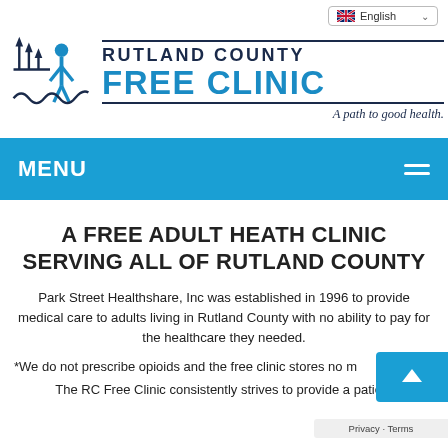[Figure (logo): Rutland County Free Clinic logo with stylized human figure and arrows, tagline 'A path to good health.' and English language selector]
MENU
A FREE ADULT HEATH CLINIC SERVING ALL OF RUTLAND COUNTY
Park Street Healthshare, Inc was established in 1996 to provide medical care to adults living in Rutland County with no ability to pay for the healthcare they needed.
*We do not prescribe opioids and the free clinic stores no m
The RC Free Clinic consistently strives to provide a patient